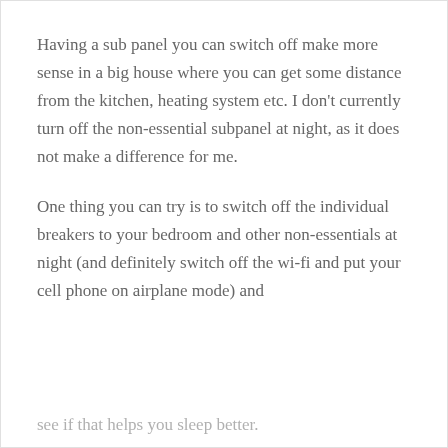Having a sub panel you can switch off make more sense in a big house where you can get some distance from the kitchen, heating system etc. I don't currently turn off the non-essential subpanel at night, as it does not make a difference for me.
One thing you can try is to switch off the individual breakers to your bedroom and other non-essentials at night (and definitely switch off the wi-fi and put your cell phone on airplane mode) and see if that helps you sleep better.